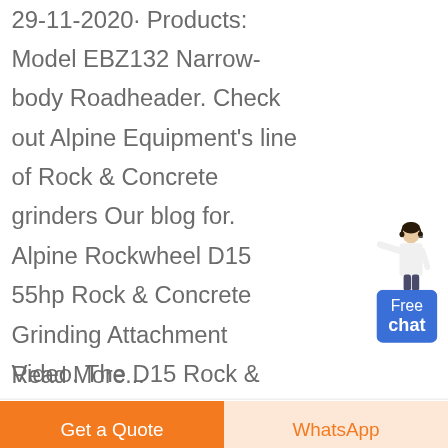29-11-2020· Products: Model EBZ132 Narrow-body Roadheader. Check out Alpine Equipment's line of Rock & Concrete grinders Our blog for. Alpine Rockwheel D15 55hp Rock & Concrete Grinding Attachment Video. The D15 Rock & Concrete grinder is an ideal tool for 13-20 ton excavators. This tool offers state-of-the-art hydraulic . Get Price; alpine roadheaders and ...
[Figure (illustration): Chat widget with a person illustration and a blue 'Free chat' button]
Read More...
Get a Quote
WhatsApp